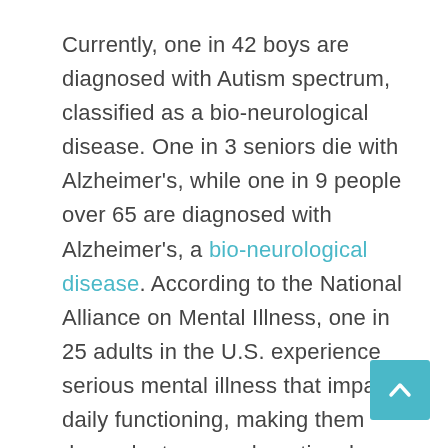Currently, one in 42 boys are diagnosed with Autism spectrum, classified as a bio-neurological disease. One in 3 seniors die with Alzheimer's, while one in 9 people over 65 are diagnosed with Alzheimer's, a bio-neurological disease. According to the National Alliance on Mental Illness, one in 25 adults in the U.S. experience serious mental illness that impairs daily functioning, making them dependent on psychoactive drugs. While one in 4 people suffer from general unspecified mental health disorders. That's a tremendous amount of psychoactive drugs being prescribed to the world population, at every age, in which these drugs act to take control over the functions of the CNS and Brain.